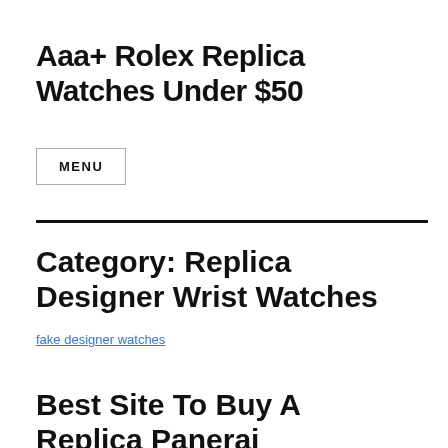Aaa+ Rolex Replica Watches Under $50
MENU
Category: Replica Designer Wrist Watches
fake designer watches
Best Site To Buy A Replica Panerai